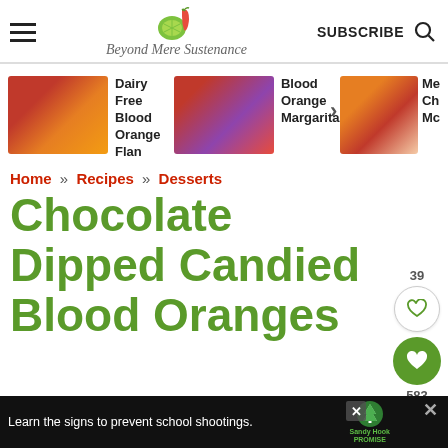Beyond Mere Sustenance | SUBSCRIBE
[Figure (photo): Carousel of food blog post thumbnails: Dairy Free Blood Orange Flan, Blood Orange Margarita..., and a third partially visible post]
Dairy Free Blood Orange Flan
Blood Orange Margarita...
Me Ch Mc
Home » Recipes » Desserts
Chocolate Dipped Candied Blood Oranges
[Figure (infographic): Social sharing sidebar with 39 likes heart icon, green heart save button with 583 saves, and share button]
[Figure (photo): Advertisement banner: Learn the signs to prevent school shootings. Sandy Hook Promise logo with tree icon]